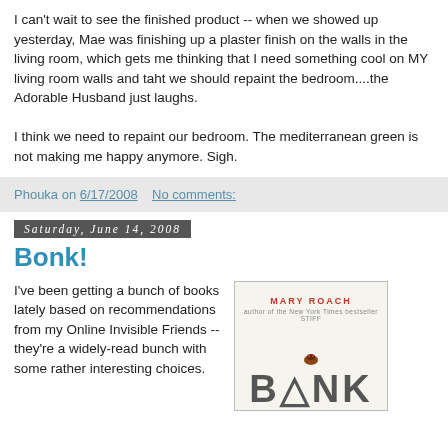I can't wait to see the finished product -- when we showed up yesterday, Mae was finishing up a plaster finish on the walls in the living room, which gets me thinking that I need something cool on MY living room walls and taht we should repaint the bedroom....the Adorable Husband just laughs.

I think we need to repaint our bedroom. The mediterranean green is not making me happy anymore. Sigh.
Phouka on 6/17/2008    No comments:
Saturday, June 14, 2008
Bonk!
I've been getting a bunch of books lately based on recommendations from my Online Invisible Friends -- they're a widely-read bunch with some rather interesting choices.
[Figure (illustration): Book cover for 'Bonk' by Mary Roach, showing the author name at top in red, a small bug illustration in the middle, and the large title 'BONK' at the bottom in gray letters on a light background.]